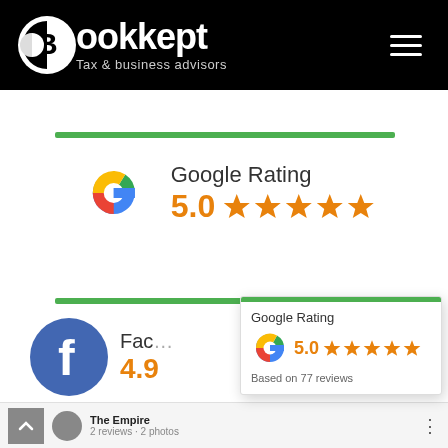[Figure (logo): Bookkept Tax & business advisors logo with hamburger menu on black header bar]
[Figure (infographic): Google Rating 5.0 with five orange stars (large display)]
[Figure (infographic): Facebook rating section showing 4.9 rating, partially obscured by popup]
[Figure (infographic): Google Rating popup overlay: 5.0 stars, Based on 77 reviews]
The Empire
2 reviews · 2 photos